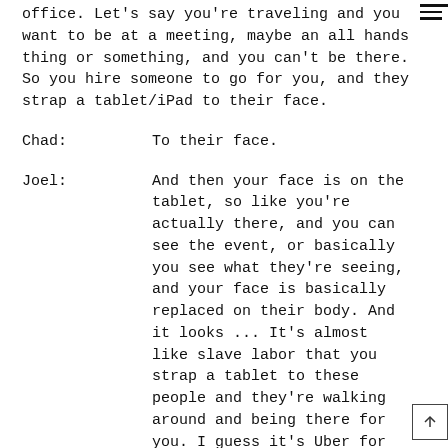office. Let's say you're traveling and you want to be at a meeting, maybe an all hands thing or something, and you can't be there. So you hire someone to go for you, and they strap a tablet/iPad to their face.
Chad:    To their face.
Joel:    And then your face is on the tablet, so like you're actually there, and you can see the event, or basically you see what they're seeing, and your face is basically replaced on their body. And it looks ... It's almost like slave labor that you strap a tablet to these people and they're walking around and being there for you. I guess it's Uber for humans. But I think we're sliding so far down the wormhole that we're just struggling to find startups and businesses that aren't just totally ridiculous, and this is one of those. Uber for humans.
Joel:    I'm waiting for this to